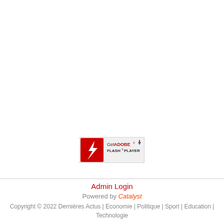[Figure (logo): Get Adobe Flash Player badge button with red Flash logo icon and download arrow]
Admin Login
Powered by Catalyst
Copyright © 2022 Dernières Actus | Economie | Politique | Sport | Education | Technologie